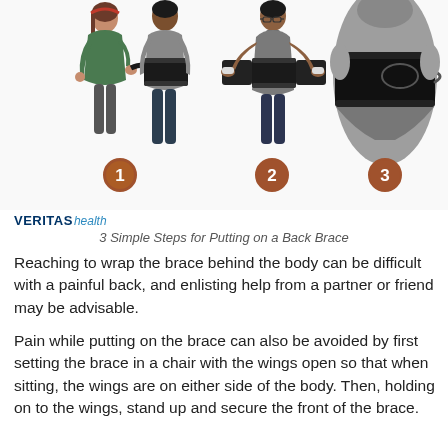[Figure (illustration): Three-step illustration showing how to put on a back brace. Step 1: A woman in green shirt helps another person wrap the brace around their torso. Step 2: A person standing with both hands holding the brace wings open. Step 3: Close-up rear view of a torso with the black back brace secured in place. Each step labeled with a circled number (1, 2, 3) in brown/orange circles.]
3 Simple Steps for Putting on a Back Brace
Reaching to wrap the brace behind the body can be difficult with a painful back, and enlisting help from a partner or friend may be advisable.
Pain while putting on the brace can also be avoided by first setting the brace in a chair with the wings open so that when sitting, the wings are on either side of the body. Then, holding on to the wings, stand up and secure the front of the brace.